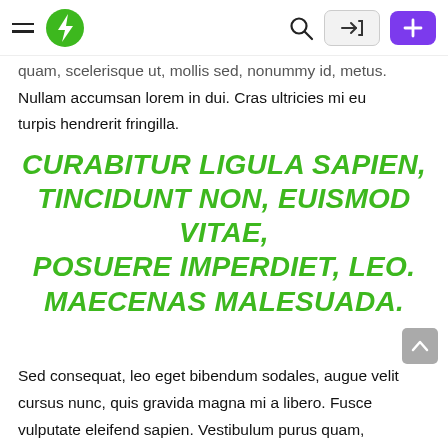[Navigation bar with hamburger menu, green lightning bolt logo, search icon, login button, and purple plus button]
quam, scelerisque ut, mollis sed, nonummy id, metus. Nullam accumsan lorem in dui. Cras ultricies mi eu turpis hendrerit fringilla.
CURABITUR LIGULA SAPIEN, TINCIDUNT NON, EUISMOD VITAE, POSUERE IMPERDIET, LEO. MAECENAS MALESUADA.
Sed consequat, leo eget bibendum sodales, augue velit cursus nunc, quis gravida magna mi a libero. Fusce vulputate eleifend sapien. Vestibulum purus quam, scelerisque ut, mollis sed, nonummy id, metus. Nullam accumsan lorem in dui. Cras ultricies mi eu